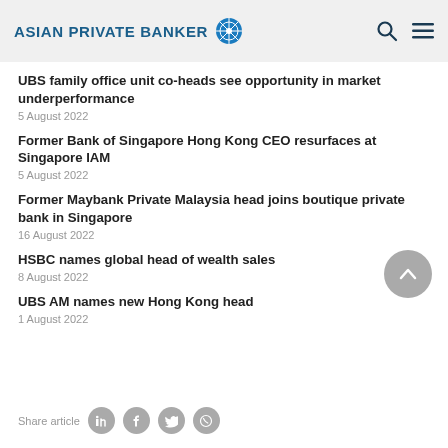ASIAN PRIVATE BANKER
UBS family office unit co-heads see opportunity in market underperformance
5 August 2022
Former Bank of Singapore Hong Kong CEO resurfaces at Singapore IAM
5 August 2022
Former Maybank Private Malaysia head joins boutique private bank in Singapore
16 August 2022
HSBC names global head of wealth sales
8 August 2022
UBS AM names new Hong Kong head
1 August 2022
Share article